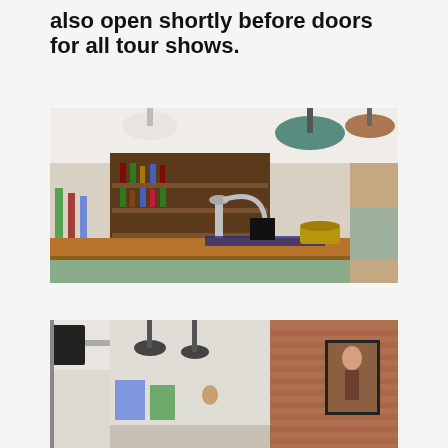also open shortly before doors for all tour shows.
[Figure (photo): Interior photo of a pub bar area showing beer taps, bottles of spirits and beers on shelves, a wooden bar top with sage green front panels, pendant lights hanging from the ceiling, and a wicker basket on the bar.]
[Figure (photo): Interior photo of a venue showing hanging pendant lights, brick walls, framed pictures, and open ceiling with exposed pipework.]